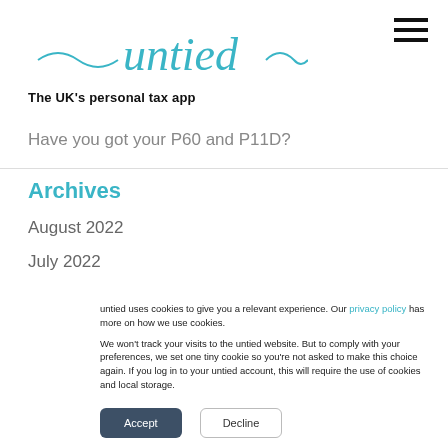untied — The UK's personal tax app
Have you got your P60 and P11D?
Archives
August 2022
July 2022
untied uses cookies to give you a relevant experience. Our privacy policy has more on how we use cookies.

We won't track your visits to the untied website. But to comply with your preferences, we set one tiny cookie so you're not asked to make this choice again. If you log in to your untied account, this will require the use of cookies and local storage.